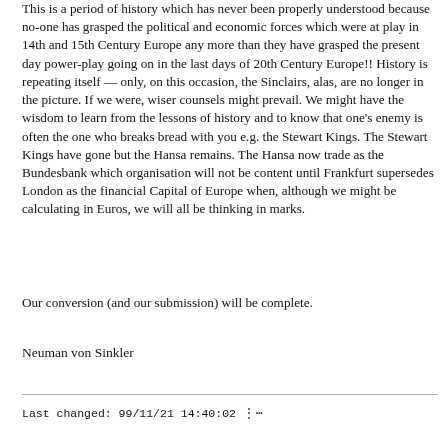This is a period of history which has never been properly understood because no-one has grasped the political and economic forces which were at play in 14th and 15th Century Europe any more than they have grasped the present day power-play going on in the last days of 20th Century Europe!! History is repeating itself — only, on this occasion, the Sinclairs, alas, are no longer in the picture. If we were, wiser counsels might prevail. We might have the wisdom to learn from the lessons of history and to know that one's enemy is often the one who breaks bread with you e.g. the Stewart Kings. The Stewart Kings have gone but the Hansa remains. The Hansa now trade as the Bundesbank which organisation will not be content until Frankfurt supersedes London as the financial Capital of Europe when, although we might be calculating in Euros, we will all be thinking in marks.
Our conversion (and our submission) will be complete.
Neuman von Sinkler
Last changed: 99/11/21 14:40:02